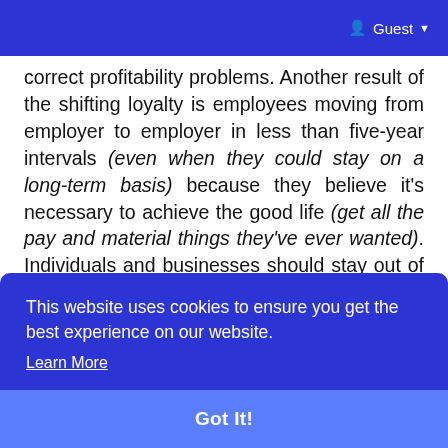Guest
correct profitability problems. Another result of the shifting loyalty is employees moving from employer to employer in less than five-year intervals (even when they could stay on a long-term basis) because they believe it's necessary to achieve the good life (get all the pay and material things they've ever wanted). Individuals and businesses should stay out of debt and eliminate the debt they have to avoid financial bondage and increase loyalty to one another, so businesses are not derailed, thus hurting so ion, ying poor pay ons, though many people don't want to acknowledge it
This website uses cookies to ensure you get the best experience on our website. Learn More Got It!